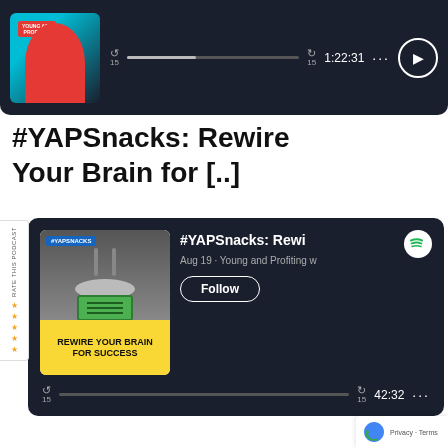[Figure (screenshot): Spotify podcast player card at top showing a podcast episode with playback controls, progress bar showing 1:22:31 duration]
#YAPSnacks: Rewire Your Brain for [..]
[Figure (screenshot): Spotify card for #YAPSnacks: Rewire Your Brain for Success episode by Young and Profiting, dated Aug 19, with Follow button and 42:32 duration. Episode art shows hands cutting a stack of money on a plate with yellow background text REWIRE YOUR BRAIN FOR SUCCESS]